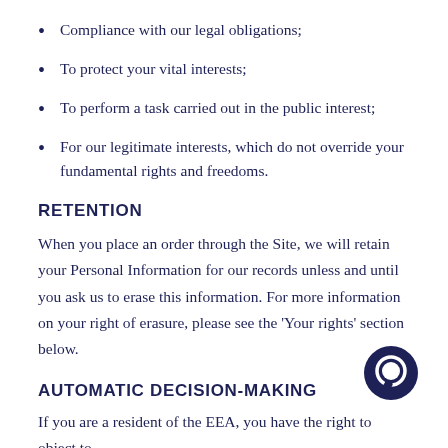Compliance with our legal obligations;
To protect your vital interests;
To perform a task carried out in the public interest;
For our legitimate interests, which do not override your fundamental rights and freedoms.
RETENTION
When you place an order through the Site, we will retain your Personal Information for our records unless and until you ask us to erase this information. For more information on your right of erasure, please see the ‘Your rights’ section below.
AUTOMATIC DECISION-MAKING
If you are a resident of the EEA, you have the right to object to